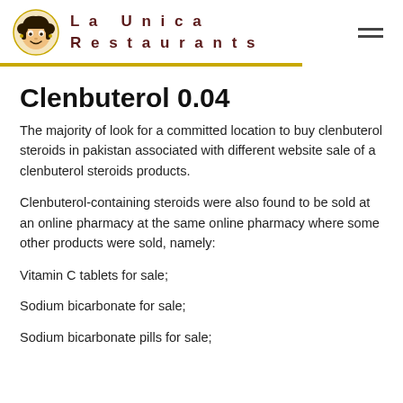La Unica Restaurants
Clenbuterol 0.04
The majority of look for a committed location to buy clenbuterol steroids in pakistan associated with different website sale of a clenbuterol steroids products.
Clenbuterol-containing steroids were also found to be sold at an online pharmacy at the same online pharmacy where some other products were sold, namely:
Vitamin C tablets for sale;
Sodium bicarbonate for sale;
Sodium bicarbonate pills for sale;